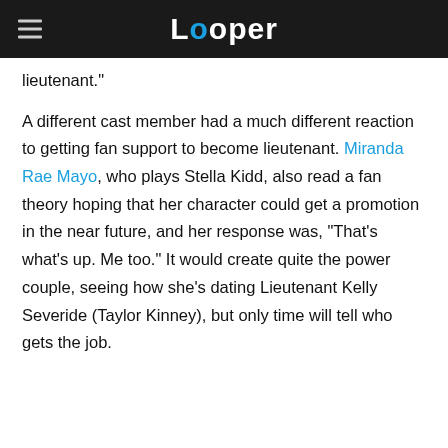Looper
lieutenant."
A different cast member had a much different reaction to getting fan support to become lieutenant. Miranda Rae Mayo, who plays Stella Kidd, also read a fan theory hoping that her character could get a promotion in the near future, and her response was, "That's what's up. Me too." It would create quite the power couple, seeing how she's dating Lieutenant Kelly Severide (Taylor Kinney), but only time will tell who gets the job.